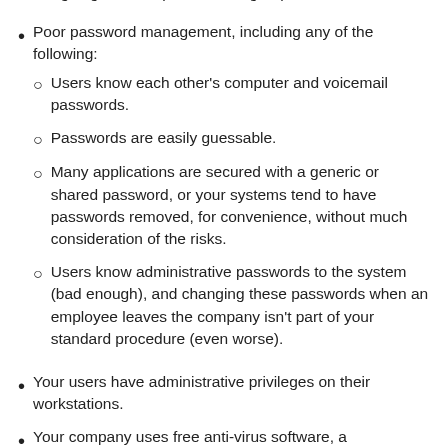assigning users to permissions groups.
Poor password management, including any of the following:
Users know each other's computer and voicemail passwords.
Passwords are easily guessable.
Many applications are secured with a generic or shared password, or your systems tend to have passwords removed, for convenience, without much consideration of the risks.
Users know administrative passwords to the system (bad enough), and changing these passwords when an employee leaves the company isn't part of your standard procedure (even worse).
Your users have administrative privileges on their workstations.
Your company uses free anti-virus software, a hodgepodge of whatever came pre-installed with new